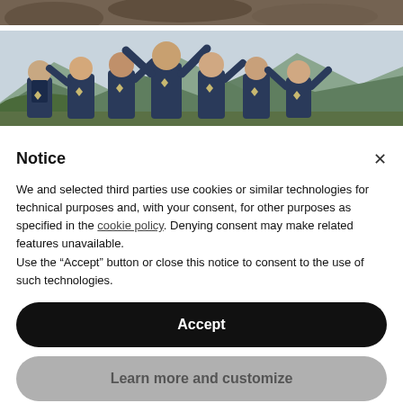[Figure (photo): Top partial photo showing rocky/stone background in dark brownish tones]
[Figure (photo): Photo of a group of groomsmen in navy blue suits with bow ties, outdoors with mountains in background, hands raised celebrating]
Notice
We and selected third parties use cookies or similar technologies for technical purposes and, with your consent, for other purposes as specified in the cookie policy. Denying consent may make related features unavailable.
Use the "Accept" button or close this notice to consent to the use of such technologies.
Accept
Learn more and customize